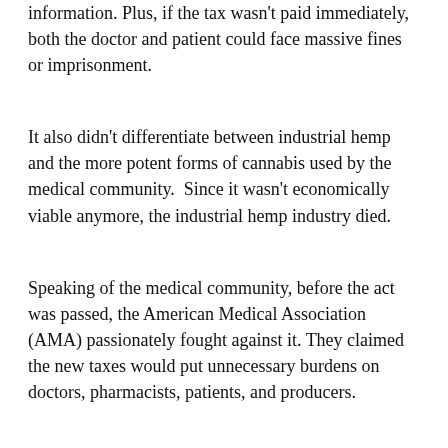information. Plus, if the tax wasn't paid immediately, both the doctor and patient could face massive fines or imprisonment.
It also didn't differentiate between industrial hemp and the more potent forms of cannabis used by the medical community.  Since it wasn't economically viable anymore, the industrial hemp industry died.
Speaking of the medical community, before the act was passed, the American Medical Association (AMA) passionately fought against it. They claimed the new taxes would put unnecessary burdens on doctors, pharmacists, patients, and producers.
The legislative counsel for the AMA, Dr. William